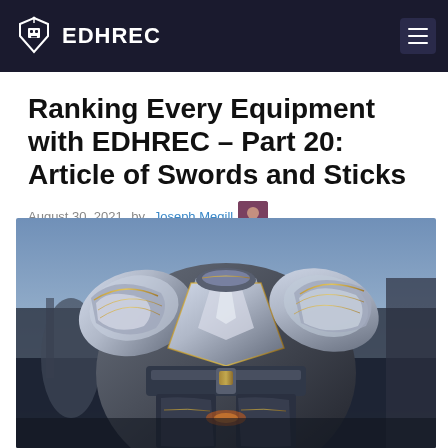EDHREC
Ranking Every Equipment with EDHREC – Part 20: Article of Swords and Sticks
August 30, 2021 by Joseph Megill
[Figure (illustration): Fantasy armored warrior illustration — close-up of ornate silver and dark metal plate armor with gold trim details, depicting a knight or warrior character against a blurred battle background.]